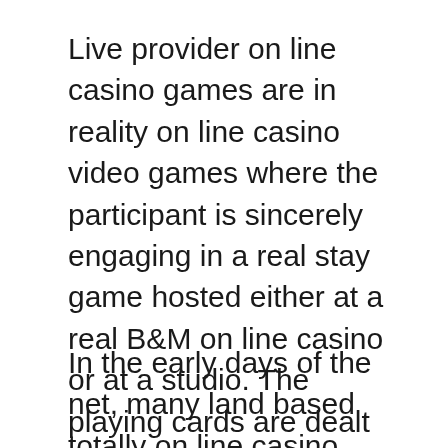Live provider on line casino games are in reality on line casino video games where the participant is sincerely engaging in a real stay game hosted either at a real B&M on line casino or at a studio. The playing cards are dealt by way of a actual stay supplier who has been mainly trained to host such games and gamers can see exactly what is going on in the game and enjoy as a good deal as viable the pleasure and motion just like what they could experience at a bricks and mortar casino.
In the early days of the net, many land based totally on line casino gamers, eager to try out the brand new medium of playing on line, didn't appear to like that for 8 items to not...